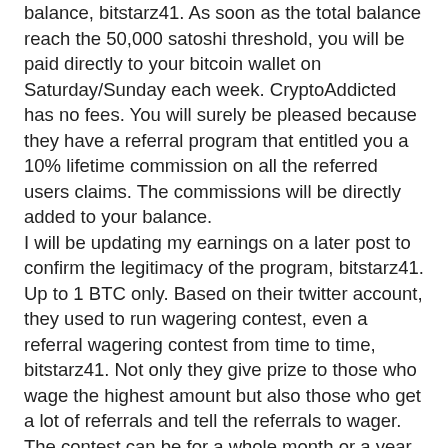balance, bitstarz41. As soon as the total balance reach the 50,000 satoshi threshold, you will be paid directly to your bitcoin wallet on Saturday/Sunday each week. CryptoAddicted has no fees. You will surely be pleased because they have a referral program that entitled you a 10% lifetime commission on all the referred users claims. The commissions will be directly added to your balance.
I will be updating my earnings on a later post to confirm the legitimacy of the program, bitstarz41.
Up to 1 BTC only. Based on their twitter account, they used to run wagering contest, even a referral wagering contest from time to time, bitstarz41. Not only they give prize to those who wage the highest amount but also those who get a lot of referrals and tell the referrals to wager. The contest can be for a whole month or a year. For those who want to lose more money can try using the auto